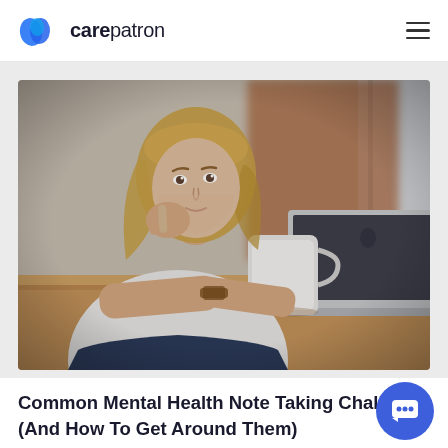carepatron
[Figure (photo): Woman with blonde hair sitting at a wooden table, resting her chin on her hand, looking at an open laptop. A white mug is on the table beside her. Background shows a blurred brick wall and window.]
Common Mental Health Note Taking Challenges (And How To Get Around Them)